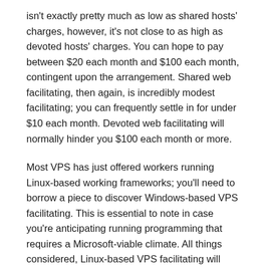isn't exactly pretty much as low as shared hosts' charges, however, it's not close to as high as devoted hosts' charges. You can hope to pay between $20 each month and $100 each month, contingent upon the arrangement. Shared web facilitating, then again, is incredibly modest facilitating; you can frequently settle in for under $10 each month. Devoted web facilitating will normally hinder you $100 each month or more.
Most VPS has just offered workers running Linux-based working frameworks; you'll need to borrow a piece to discover Windows-based VPS facilitating. This is essential to note in case you're anticipating running programming that requires a Microsoft-viable climate. All things considered, Linux-based VPS facilitating will save you a couple of bucks; Linux workers for the most part cost $10 to $20 not as much as Windows workers.